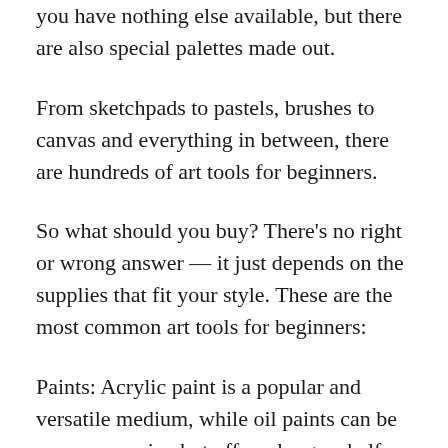you have nothing else available, but there are also special palettes made out.
From sketchpads to pastels, brushes to canvas and everything in between, there are hundreds of art tools for beginners.
So what should you buy? There's no right or wrong answer — it just depends on the supplies that fit your style. These are the most common art tools for beginners:
Paints: Acrylic paint is a popular and versatile medium, while oil paints can be more expensive but offer a longer shelf life. Watercolors offer a transparent feel, while tempera paints have a higher pigment density